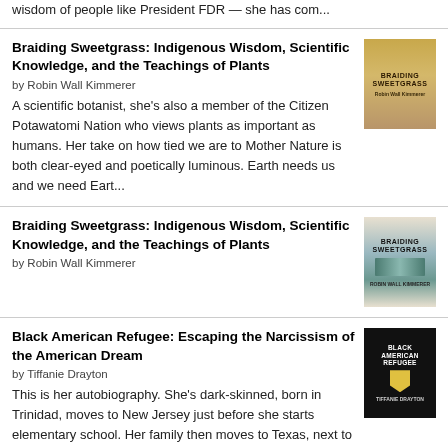wisdom of people like President FDR — she has com...
Braiding Sweetgrass: Indigenous Wisdom, Scientific Knowledge, and the Teachings of Plants
by Robin Wall Kimmerer
A scientific botanist, she's also a member of the Citizen Potawatomi Nation who views plants as important as humans. Her take on how tied we are to Mother Nature is both clear-eyed and poetically luminous. Earth needs us and we need Eart...
[Figure (photo): Book cover of Braiding Sweetgrass by Robin Wall Kimmerer - golden/tan colored cover]
Braiding Sweetgrass: Indigenous Wisdom, Scientific Knowledge, and the Teachings of Plants
by Robin Wall Kimmerer
[Figure (photo): Book cover of Braiding Sweetgrass by Robin Wall Kimmerer - showing braided sweetgrass imagery]
Black American Refugee: Escaping the Narcissism of the American Dream
by Tiffanie Drayton
This is her autobiography. She's dark-skinned, born in Trinidad, moves to New Jersey just before she starts elementary school. Her family then moves to Texas, next to Florida, and later she lives in New York. The longer she's in the U.S....
[Figure (photo): Book cover of Black American Refugee by Tiffanie Drayton - black cover with yellow shield emblem]